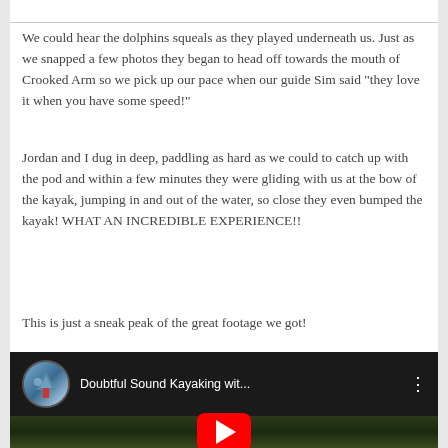We could hear the dolphins squeals as they played underneath us. Just as we snapped a few photos they began to head off towards the mouth of Crooked Arm so we pick up our pace when our guide Sim said “they love it when you have some speed!”
Jordan and I dug in deep, paddling as hard as we could to catch up with the pod and within a few minutes they were gliding with us at the bow of the kayak, jumping in and out of the water, so close they even bumped the kayak! WHAT AN INCREDIBLE EXPERIENCE!!
This is just a sneak peak of the great footage we got!
[Figure (screenshot): YouTube video thumbnail showing 'Doubtful Sound Kayaking wit...' with a channel avatar of a mountain scene, dark green/natural background, and YouTube play button icon visible at bottom]